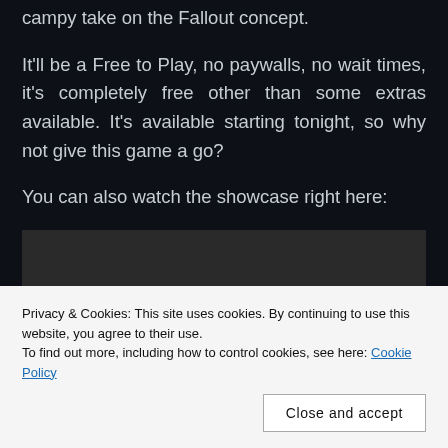campy take on the Fallout concept.
It'll be a Free to Play, no paywalls, no wait times, it's completely free other than some extras available. It's available starting tonight, so why not give this game a go?
You can also watch the showcase right here:
[Figure (other): Dark video embed placeholder area]
Privacy & Cookies: This site uses cookies. By continuing to use this website, you agree to their use.
To find out more, including how to control cookies, see here: Cookie Policy
Close and accept